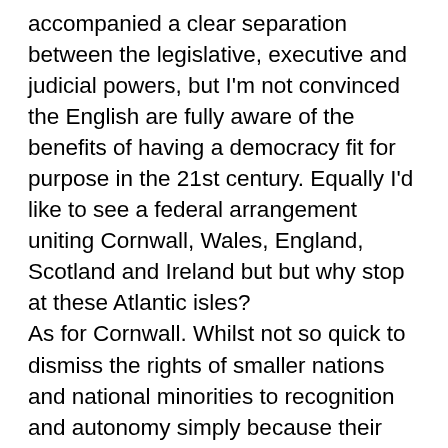accompanied a clear separation between the legislative, executive and judicial powers, but I'm not convinced the English are fully aware of the benefits of having a democracy fit for purpose in the 21st century. Equally I'd like to see a federal arrangement uniting Cornwall, Wales, England, Scotland and Ireland but but why stop at these Atlantic isles? As for Cornwall. Whilst not so quick to dismiss the rights of smaller nations and national minorities to recognition and autonomy simply because their size and location are an inconvenience to ruling establishments and bureaucrats, I will concede that your point of view is prevalent amongst the British ruling cast. Thankfully international organisations such as the Council of Europe have a more tolerant position. Should peoples and nations